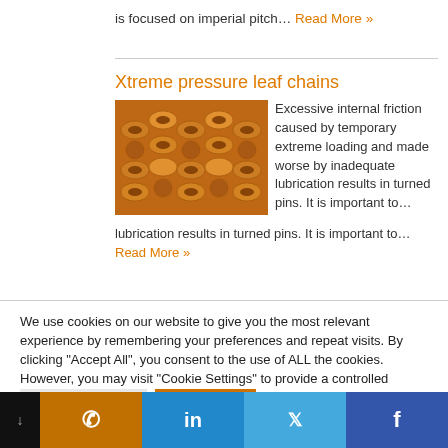is focused on imperial pitch… Read More »
Xtreme pressure leaf chains
[Figure (photo): Close-up photo of golden/bronze leaf chains links]
Excessive internal friction caused by temporary extreme loading and made worse by inadequate lubrication results in turned pins. It is important to… Read More »
We use cookies on our website to give you the most relevant experience by remembering your preferences and repeat visits. By clicking "Accept All", you consent to the use of ALL the cookies. However, you may visit "Cookie Settings" to provide a controlled consent.
Cookie Settings   Accept All
↓  phone  in  twitter  facebook